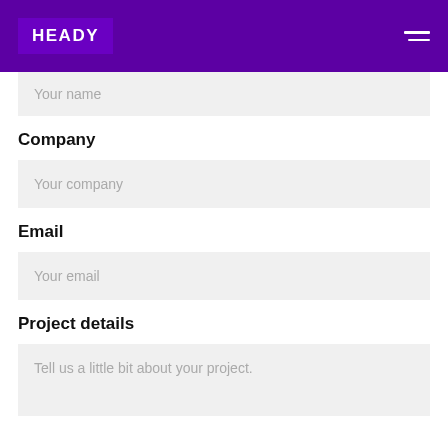HEADY
Your name
Company
Your company
Email
Your email
Project details
Tell us a little bit about your project.